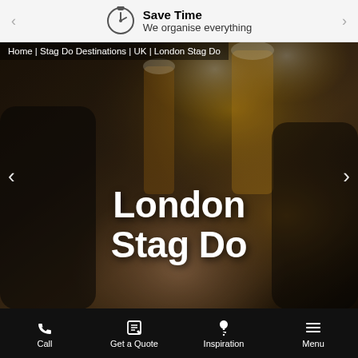Save Time — We organise everything
Home | Stag Do Destinations | UK | London Stag Do
[Figure (photo): Hero photo of people clinking beer glasses, dark moody background with golden beer colors]
London Stag Do
Call | Get a Quote | Inspiration | Menu